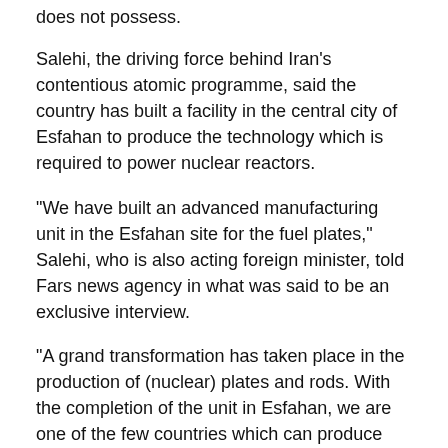does not possess.
Salehi, the driving force behind Iran's contentious atomic programme, said the country has built a facility in the central city of Esfahan to produce the technology which is required to power nuclear reactors.
"We have built an advanced manufacturing unit in the Esfahan site for the fuel plates," Salehi, who is also acting foreign minister, told Fars news agency in what was said to be an exclusive interview.
"A grand transformation has taken place in the production of (nuclear) plates and rods. With the completion of the unit in Esfahan, we are one of the few countries which can produce fuel rods and fuel plates."
Salehi said it was the Western policies towards the Islamic republic which had propelled its nuclear achievements, including the making of nuclear plates and rods.
"This is in fact because of West's actions that we came to this point," he said.